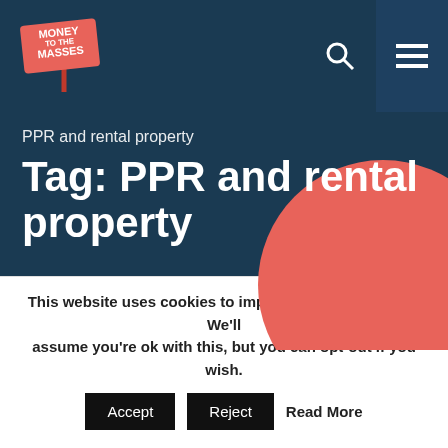[Figure (logo): Money to the Masses logo — red sign on a stick with white text]
PPR and rental property
Tag: PPR and rental property
This website uses cookies to improve your experience. We'll assume you're ok with this, but you can opt-out if you wish.
Accept  Reject  Read More